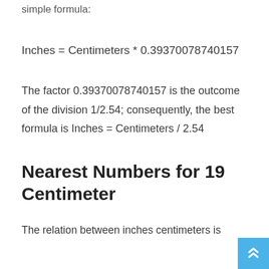simple formula:
The factor 0.39370078740157 is the outcome of the division 1/2.54; consequently, the best formula is Inches = Centimeters / 2.54
Nearest Numbers for 19 Centimeter
The relation between inches centimeters is